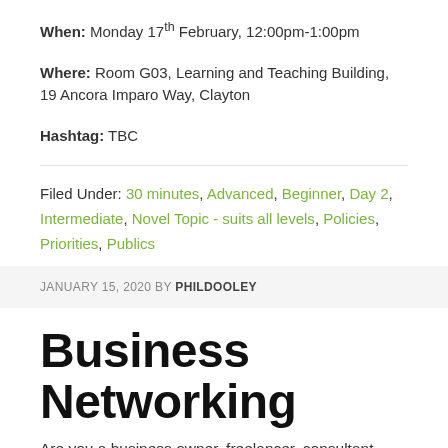When: Monday 17th February, 12:00pm-1:00pm
Where: Room G03, Learning and Teaching Building, 19 Ancora Imparo Way, Clayton
Hashtag: TBC
Filed Under: 30 minutes, Advanced, Beginner, Day 2, Intermediate, Novel Topic - suits all levels, Policies, Priorities, Publics
JANUARY 15, 2020 BY PHILDOOLEY
Business Networking
Are you a business owner, freelancer, consultant,